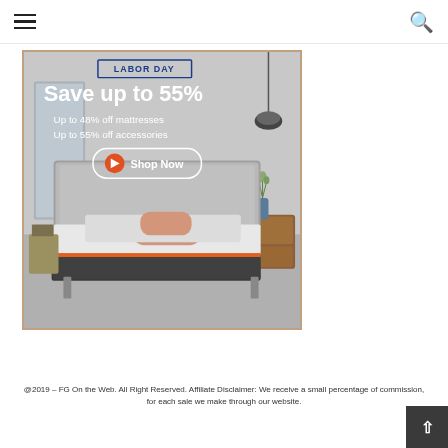≡  🔍
[Figure (illustration): Labor Day sale advertisement for a mattress brand. Text reads: LABOR DAY / Save up to 55% / Up to 48% off mattresses / Up to 55% off accessories / Shop Now button. Background shows a modern bedroom with a gray upholstered bed, white and orange-trim mattress, peach pillow, and bedside table.]
@2019 – FG On the Web. All Right Reserved. Affiliate Disclaimer: We receive a small percentage of commission, for each sale we make through our website.